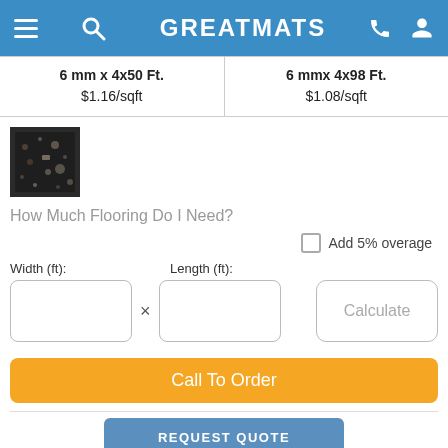GREATMATS
| Option 1 | Option 2 |
| --- | --- |
| 6 mm x 4x50 Ft. | 6 mmx 4x98 Ft. |
| $1.16/sqft | $1.08/sqft |
[Figure (photo): Small thumbnail image of dark speckled flooring material]
How Much Flooring Do I Need?
Add 5% overage
Width (ft): × Length (ft):
Calculate
Call To Order
REQUEST QUOTE